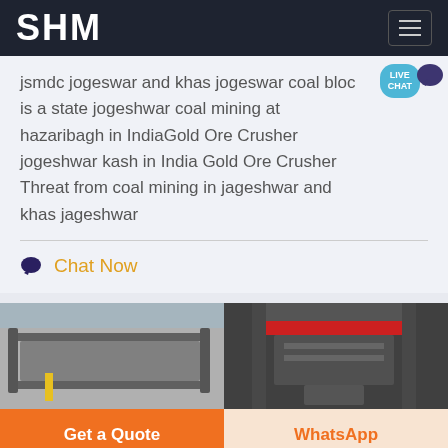SHM
jsmdc jogeswar and khas jogeswar coal block is a state jogeshwar coal mining at hazaribagh in IndiaGold Ore Crusher jogeshwar kash in India Gold Ore Crusher Threat from coal mining in jageshwar and khas jageshwar
Chat Now
[Figure (photo): Industrial machinery photo showing conveyor belt on left half and heavy press/industrial equipment with red accent on right half]
Get a Quote
WhatsApp